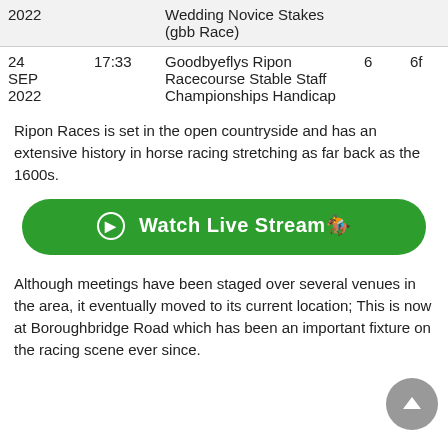| Date | Time | Race | Runners | Distance |
| --- | --- | --- | --- | --- |
| 2022 |  | Wedding Novice Stakes (gbb Race) |  |  |
| 24 SEP 2022 | 17:33 | Goodbyeflys Ripon Racecourse Stable Staff Championships Handicap | 6 | 6f |
Ripon Races is set in the open countryside and has an extensive history in horse racing stretching as far back as the 1600s.
[Figure (other): Green rounded button with play icon and text 'Watch Live Stream' with horse emoji]
Although meetings have been staged over several venues in the area, it eventually moved to its current location; This is now at Boroughbridge Road which has been an important fixture on the racing scene ever since.